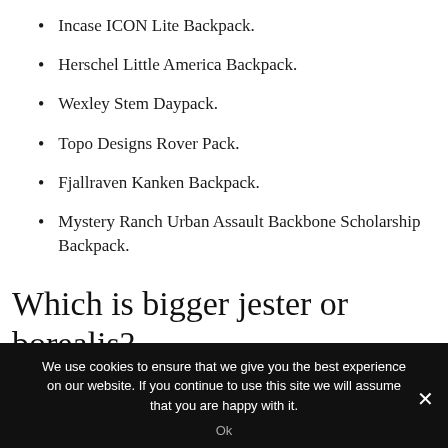Incase ICON Lite Backpack.
Herschel Little America Backpack.
Wexley Stem Daypack.
Topo Designs Rover Pack.
Fjallraven Kanken Backpack.
Mystery Ranch Urban Assault Backbone Scholarship Backpack.
Which is bigger jester or borealis?
We use cookies to ensure that we give you the best experience on our website. If you continue to use this site we will assume that you are happy with it.
Ok